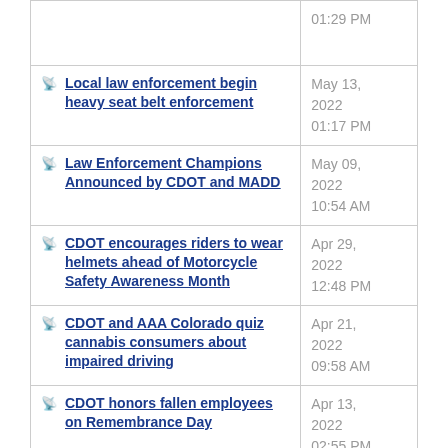| News Item | Date |
| --- | --- |
|  | 01:29 PM |
| Local law enforcement begin heavy seat belt enforcement | May 13, 2022 01:17 PM |
| Law Enforcement Champions Announced by CDOT and MADD | May 09, 2022 10:54 AM |
| CDOT encourages riders to wear helmets ahead of Motorcycle Safety Awareness Month | Apr 29, 2022 12:48 PM |
| CDOT and AAA Colorado quiz cannabis consumers about impaired driving | Apr 21, 2022 09:58 AM |
| CDOT honors fallen employees on Remembrance Day | Apr 13, 2022 02:55 PM |